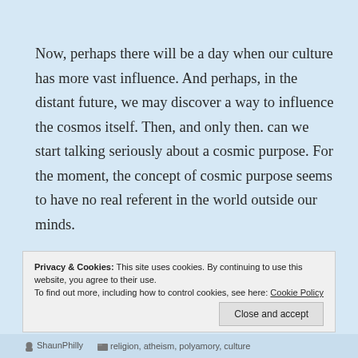Now, perhaps there will be a day when our culture has more vast influence.  And perhaps, in the distant future, we may discover a way to influence the cosmos itself.  Then, and only then. can we start talking seriously about a cosmic purpose.  For the moment, the concept of cosmic purpose seems to have no real referent in the world outside our minds.
Privacy & Cookies: This site uses cookies. By continuing to use this website, you agree to their use.
To find out more, including how to control cookies, see here: Cookie Policy
[Close and accept]
ShaunPhilly    religion, atheism, polyamory, culture